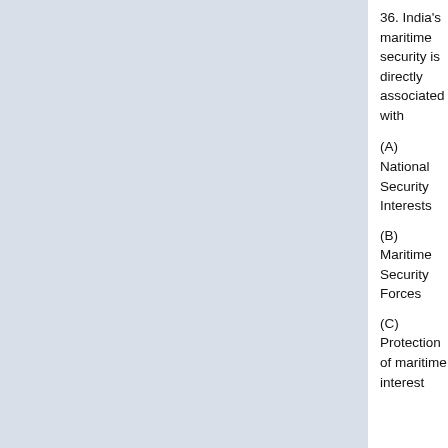36. India's maritime security is directly associated with
(A) National Security Interests
(B) Maritime Security Forces
(C) Protection of maritime interest